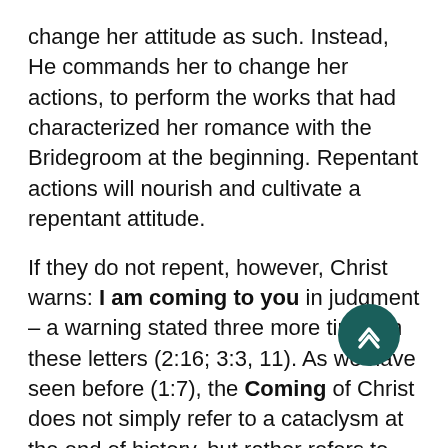change her attitude as such. Instead, He commands her to change her actions, to perform the works that had characterized her romance with the Bridegroom at the beginning. Repentant actions will nourish and cultivate a repentant attitude.
If they do not repent, however, Christ warns: I am coming to you in judgment – a warning stated three more times in these letters (2:16; 3:3, 11). As we have seen before (1:7), the Coming of Christ does not simply refer to a cataclysm at the end of history, but rather refers to His comings in history. In fact, He warns, He will come quickly, a term emphasized by its seven occurrences in Revelation (2:5, 16; 3:11; 11:14; 22:7, 12, 20). The Lord is not threatening the church at Ephesus with His Second Coming; He [is saying] that He will come against them: I will remove your lampstand out of its place. Their influence will be